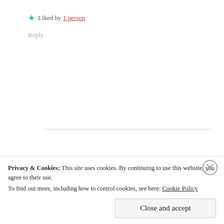★ Liked by 1 person
Reply
Privacy & Cookies: This site uses cookies. By continuing to use this website, you agree to their use. To find out more, including how to control cookies, see here: Cookie Policy
Close and accept